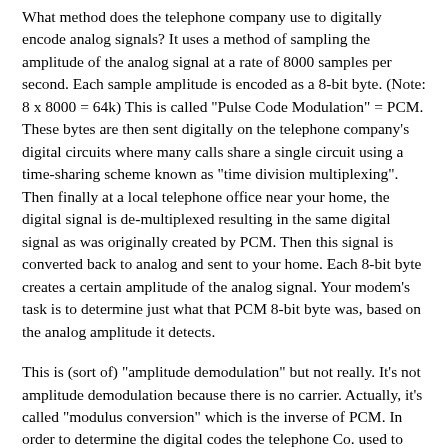What method does the telephone company use to digitally encode analog signals? It uses a method of sampling the amplitude of the analog signal at a rate of 8000 samples per second. Each sample amplitude is encoded as a 8-bit byte. (Note: 8 x 8000 = 64k) This is called "Pulse Code Modulation" = PCM. These bytes are then sent digitally on the telephone company's digital circuits where many calls share a single circuit using a time-sharing scheme known as "time division multiplexing". Then finally at a local telephone office near your home, the digital signal is de-multiplexed resulting in the same digital signal as was originally created by PCM. Then this signal is converted back to analog and sent to your home. Each 8-bit byte creates a certain amplitude of the analog signal. Your modem's task is to determine just what that PCM 8-bit byte was, based on the analog amplitude it detects.
This is (sort of) "amplitude demodulation" but not really. It's not amplitude demodulation because there is no carrier. Actually, it's called "modulus conversion" which is the inverse of PCM. In order to determine the digital codes the telephone Co. used to create the analog signal, the modem must sample this analog signal amplitude at exactly the same points in time the phone Co. used when it created the analog signal. To do this a timing signal is generated from a residual 4kHz signal on the analog phone line. The creation of amplitudes to go out to your home/office at 8k